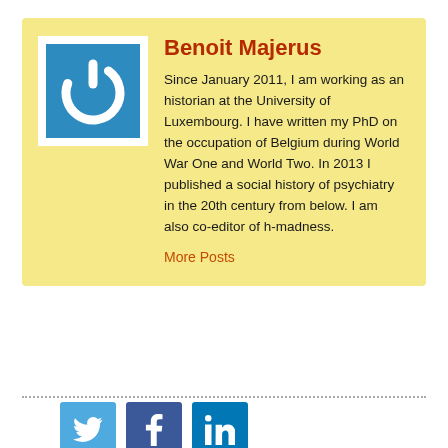[Figure (photo): Power/user icon — white power button symbol on blue square background]
Benoit Majerus
Since January 2011, I am working as an historian at the University of Luxembourg. I have written my PhD on the occupation of Belgium during World War One and World Two. In 2013 I published a social history of psychiatry in the 20th century from below. I am also co-editor of h-madness.
More Posts
[Figure (logo): Twitter bird icon, white on light blue square]
[Figure (logo): Facebook f icon, white on dark blue square]
[Figure (logo): LinkedIn in icon, white on medium blue square]